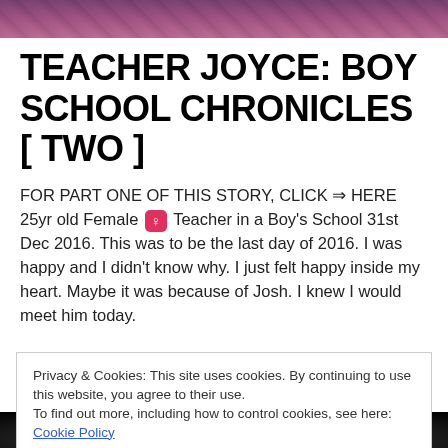[Figure (photo): Top banner image showing a person, colorful blurred background, cropped at top of page]
TEACHER JOYCE: BOY SCHOOL CHRONICLES [ TWO ]
FOR PART ONE OF THIS STORY, CLICK ⇒ HERE 25yr old Female ♀ Teacher in a Boy's School 31st Dec 2016. This was to be the last day of 2016. I was happy and I didn't know why. I just felt happy inside my heart. Maybe it was because of Josh. I knew I would meet him today.
Privacy & Cookies: This site uses cookies. By continuing to use this website, you agree to their use.
To find out more, including how to control cookies, see here: Cookie Policy
Close and accept
[Figure (photo): Bottom banner image showing a person, dark/monochrome, cropped at bottom of page]